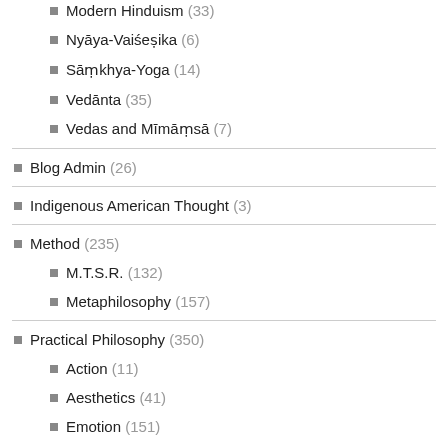Modern Hinduism (33)
Nyāya-Vaiśeṣika (6)
Sāṃkhya-Yoga (14)
Vedānta (35)
Vedas and Mīmāṃsā (7)
Blog Admin (26)
Indigenous American Thought (3)
Method (235)
M.T.S.R. (132)
Metaphilosophy (157)
Practical Philosophy (350)
Action (11)
Aesthetics (41)
Emotion (151)
Anger (31)
Attachment and Craving (26)
Compassion (5)